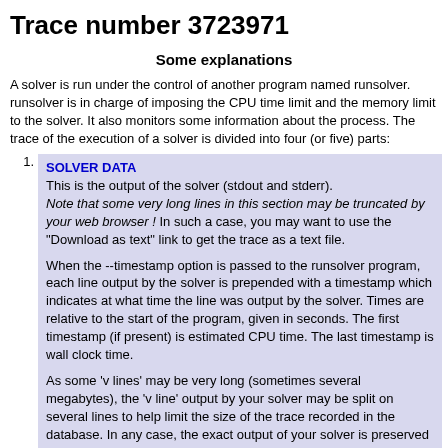Trace number 3723971
Some explanations
A solver is run under the control of another program named runsolver. runsolver is in charge of imposing the CPU time limit and the memory limit to the solver. It also monitors some information about the process. The trace of the execution of a solver is divided into four (or five) parts:
SOLVER DATA
This is the output of the solver (stdout and stderr).
Note that some very long lines in this section may be truncated by your web browser ! In such a case, you may want to use the "Download as text" link to get the trace as a text file.

When the --timestamp option is passed to the runsolver program, each line output by the solver is prepended with a timestamp which indicates at what time the line was output by the solver. Times are relative to the start of the program, given in seconds. The first timestamp (if present) is estimated CPU time. The last timestamp is wall clock time.

As some 'v lines' may be very long (sometimes several megabytes), the 'v line' output by your solver may be split on several lines to help limit the size of the trace recorded in the database. In any case, the exact output of your solver is preserved in a trace file.
VERIFIER DATA
The output of the solver is piped to a verifier program which will